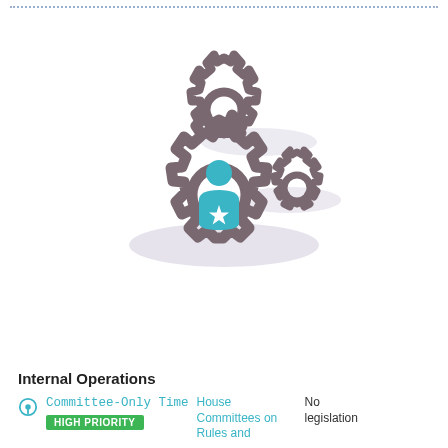[Figure (illustration): Three interlocking gear icons with a teal person/administrator figure with a star in the center gear, soft purple shadow effect]
Internal Operations
Committee-Only Time
HIGH PRIORITY
House Committees on Rules and
No legislation